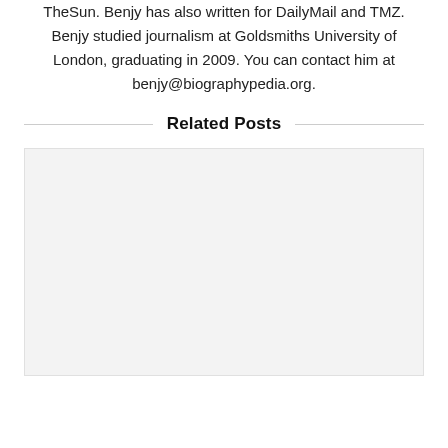TheSun. Benjy has also written for DailyMail and TMZ. Benjy studied journalism at Goldsmiths University of London, graduating in 2009. You can contact him at benjy@biographypedia.org.
Related Posts
[Figure (other): Light gray placeholder image box for a related post]